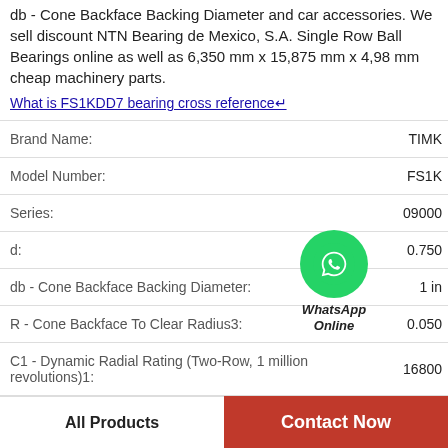db - Cone Backface Backing Diameter and car accessories. We sell discount NTN Bearing de Mexico, S.A. Single Row Ball Bearings online as well as 6,350 mm x 15,875 mm x 4,98 mm cheap machinery parts.
What is FS1KDD7 bearing cross reference
| Property | Value |
| --- | --- |
| Brand Name: | TIMK |
| Model Number: | FS1K |
| Series: | 09000 |
| d: | 0.750 |
| db - Cone Backface Backing Diameter: | 1 in |
| R - Cone Backface To Clear Radius3: | 0.050 |
| C1 - Dynamic Radial Rating (Two-Row, 1 million revolutions)1: | 16800 |
[Figure (illustration): WhatsApp Online contact icon - green circle with phone handset, labeled WhatsApp Online]
All Products
Contact Now